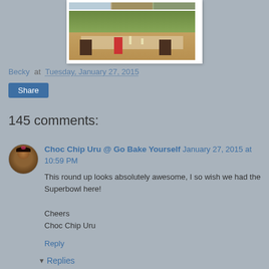[Figure (photo): Outdoor garden party table setting with colorful decorations, chairs, and trees in background]
Becky at Tuesday, January 27, 2015
Share
145 comments:
[Figure (photo): Avatar/profile photo of Choc Chip Uru commenter]
Choc Chip Uru @ Go Bake Yourself January 27, 2015 at 10:59 PM
This round up looks absolutely awesome, I so wish we had the Superbowl here!

Cheers
Choc Chip Uru
Reply
Replies